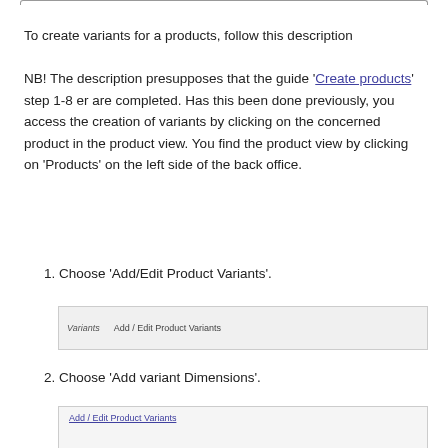To create variants for a products, follow this description
NB! The description presupposes that the guide 'Create products' step 1-8 er are completed. Has this been done previously, you access the creation of variants by clicking on the concerned product in the product view. You find the product view by clicking on 'Products' on the left side of the back office.
1. Choose 'Add/Edit Product Variants'.
[Figure (screenshot): UI screenshot showing 'Variants' label with 'Add / Edit Product Variants' button in a light grey bar]
2. Choose 'Add variant Dimensions'.
[Figure (screenshot): UI screenshot showing 'Add / Edit Product Variants' link in a light grey panel]